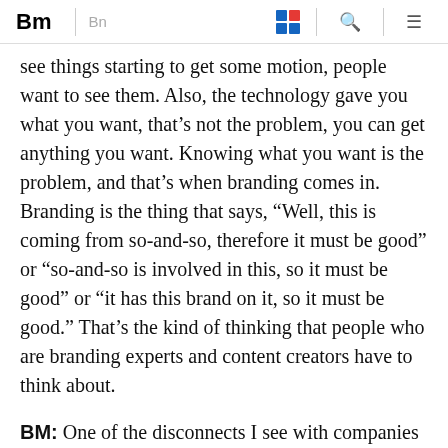Bm | Bn
see things starting to get some motion, people want to see them. Also, the technology gave you what you want, that's not the problem, you can get anything you want. Knowing what you want is the problem, and that's when branding comes in. Branding is the thing that says, “Well, this is coming from so-and-so, therefore it must be good” or “so-and-so is involved in this, so it must be good” or “it has this brand on it, so it must be good.” That’s the kind of thinking that people who are branding experts and content creators have to think about.
BM: One of the disconnects I see with companies